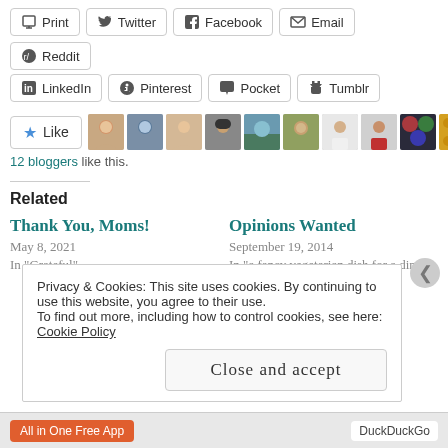Print
Twitter
Facebook
Email
Reddit
LinkedIn
Pinterest
Pocket
Tumblr
12 bloggers like this.
Related
Thank You, Moms!
May 8, 2021
In "Grateful"
Opinions Wanted
September 19, 2014
In "a fancy vegetarian dish for a dinner party"
Privacy & Cookies: This site uses cookies. By continuing to use this website, you agree to their use.
To find out more, including how to control cookies, see here: Cookie Policy
Close and accept